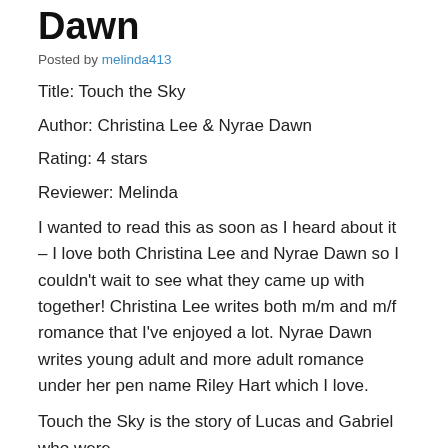Dawn
Posted by melinda413
Title: Touch the Sky
Author: Christina Lee & Nyrae Dawn
Rating: 4 stars
Reviewer: Melinda
I wanted to read this as soon as I heard about it – I love both Christina Lee and Nyrae Dawn so I couldn't wait to see what they came up with together! Christina Lee writes both m/m and m/f romance that I've enjoyed a lot. Nyrae Dawn writes young adult and more adult romance under her pen name Riley Hart which I love.
Touch the Sky is the story of Lucas and Gabriel who were